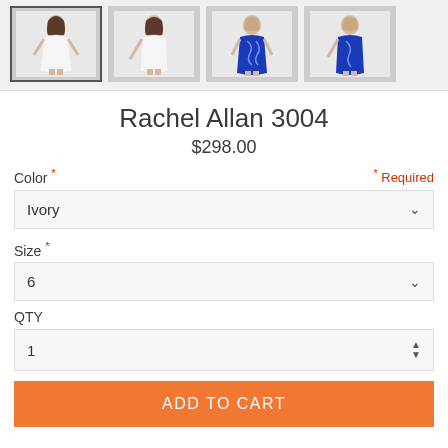[Figure (photo): Four thumbnail images of dresses: two white/ivory dresses and two royal blue dresses, shown front and back views.]
Rachel Allan 3004
$298.00
Color * * Required
Ivory (dropdown selected)
Size *
6 (dropdown selected)
QTY
1 (spinner input)
ADD TO CART